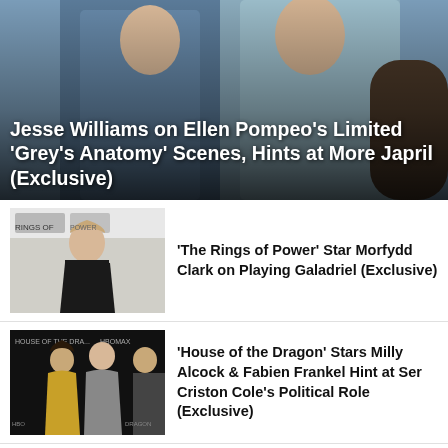[Figure (photo): Hero image of Jesse Williams and Ellen Pompeo from Grey's Anatomy, two people in blue medical scrubs/jackets]
Jesse Williams on Ellen Pompeo's Limited 'Grey's Anatomy' Scenes, Hints at More Japril (Exclusive)
[Figure (photo): Morfydd Clark in a black off-shoulder gown at The Rings of Power premiere event]
'The Rings of Power' Star Morfydd Clark on Playing Galadriel (Exclusive)
[Figure (photo): Milly Alcock and Fabien Frankel at House of the Dragon premiere with HBO Max branding]
'House of the Dragon' Stars Milly Alcock & Fabien Frankel Hint at Ser Criston Cole's Political Role (Exclusive)
[Figure (photo): Woman wearing blue hijab, still from All Rise television show]
'All Rise': Tensions Are Running High in This Exclusive Clip!